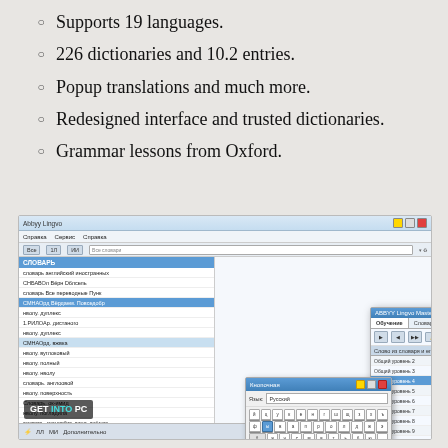Supports 19 languages.
226 dictionaries and 10.2 entries.
Popup translations and much more.
Redesigned interface and trusted dictionaries.
Grammar lessons from Oxford.
[Figure (screenshot): Screenshot of a dictionary/translation software application showing the main window with a list of dictionary entries in Russian, and two popup dialogs: one showing a virtual keyboard layout and another showing a list of dictionary categories with usage counts.]